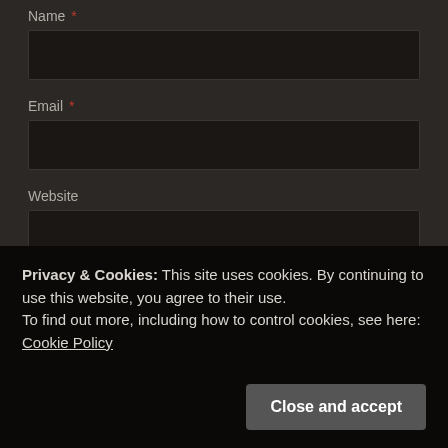Name *
Email *
Website
Notify me of follow-up comments by email.
Notify me of new posts by email.
Post Comment
Privacy & Cookies: This site uses cookies. By continuing to use this website, you agree to their use.
To find out more, including how to control cookies, see here: Cookie Policy
Close and accept